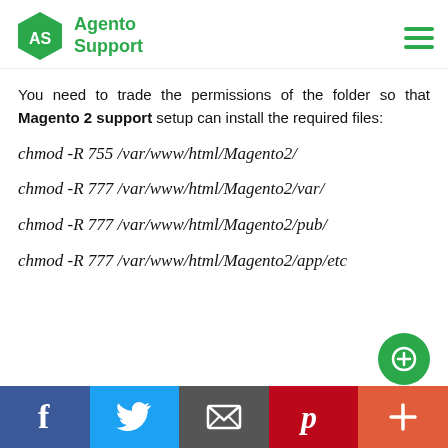Agento Support
You need to trade the permissions of the folder so that Magento 2 support setup can install the required files:
chmod -R 755 /var/www/html/Magento2/
chmod -R 777 /var/www/html/Magento2/var/
chmod -R 777 /var/www/html/Magento2/pub/
chmod -R 777 /var/www/html/Magento2/app/etc
Facebook | Twitter | Email | Pinterest | More